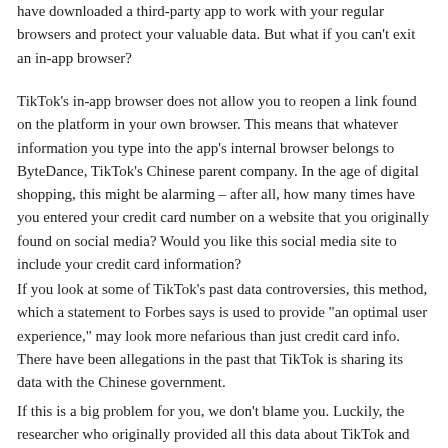have downloaded a third-party app to work with your regular browsers and protect your valuable data. But what if you can't exit an in-app browser?
TikTok's in-app browser does not allow you to reopen a link found on the platform in your own browser. This means that whatever information you type into the app's internal browser belongs to ByteDance, TikTok's Chinese parent company. In the age of digital shopping, this might be alarming – after all, how many times have you entered your credit card number on a website that you originally found on social media? Would you like this social media site to include your credit card information?
If you look at some of TikTok's past data controversies, this method, which a statement to Forbes says is used to provide "an optimal user experience," may look more nefarious than just credit card info. There have been allegations in the past that TikTok is sharing its data with the Chinese government.
If this is a big problem for you, we don't blame you. Luckily, the researcher who originally provided all this data about TikTok and other social media in-